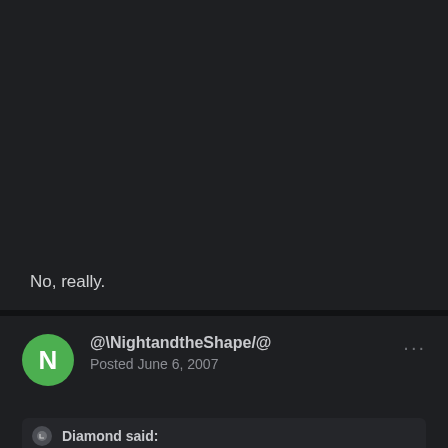No, really.
@\NightandtheShape/@
Posted June 6, 2007
Diamond said: